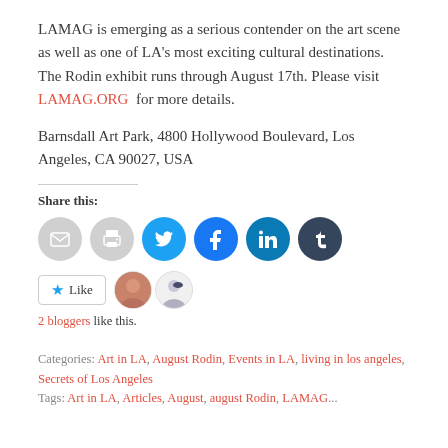LAMAG is emerging as a serious contender on the art scene as well as one of LA’s most exciting cultural destinations. The Rodin exhibit runs through August 17th. Please visit LAMAG.ORG for more details.
Barnsdall Art Park, 4800 Hollywood Boulevard, Los Angeles, CA 90027, USA
Share this:
[Figure (infographic): Social share icons: email, print, Twitter, Facebook, LinkedIn, Tumblr]
[Figure (infographic): Like button with star icon and two blogger avatar thumbnails]
2 bloggers like this.
Categories: Art in LA, August Rodin, Events in LA, living in los angeles, Secrets of Los Angeles
Tags: Art in LA, Articles, August, august Rodin, LAMAG...